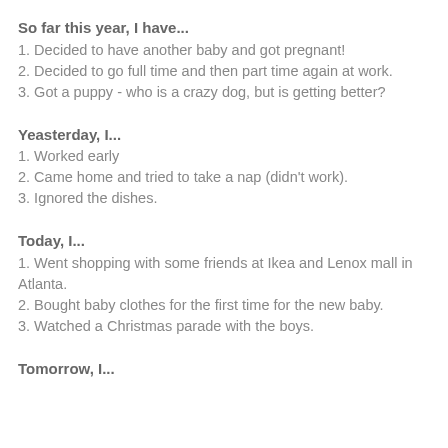So far this year, I have...
1. Decided to have another baby and got pregnant!
2. Decided to go full time and then part time again at work.
3. Got a puppy - who is a crazy dog, but is getting better?
Yeasterday, I...
1. Worked early
2. Came home and tried to take a nap (didn't work).
3. Ignored the dishes.
Today, I...
1. Went shopping with some friends at Ikea and Lenox mall in Atlanta.
2. Bought baby clothes for the first time for the new baby.
3. Watched a Christmas parade with the boys.
Tomorrow, I...